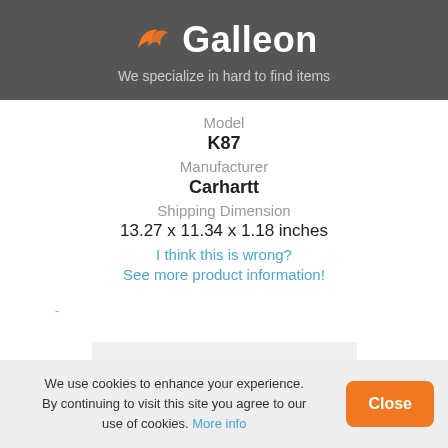[Figure (logo): Galleon logo with orange bird/wave icon and white bold text 'Galleon' on dark gray background]
We specialize in hard to find items
Model
K87
Manufacturer
Carhartt
Shipping Dimension
13.27 x 11.34 x 1.18 inches
I think this is wrong?
See more product information!
-
We use cookies to enhance your experience. By continuing to visit this site you agree to our use of cookies. More info